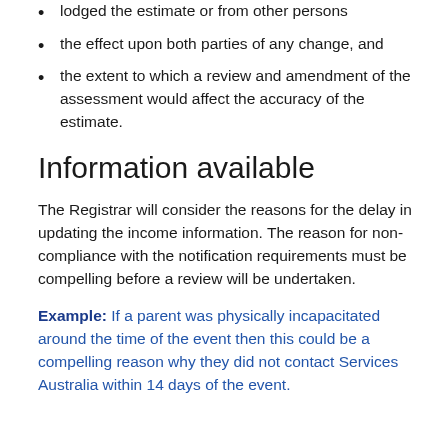lodged the estimate or from other persons
the effect upon both parties of any change, and
the extent to which a review and amendment of the assessment would affect the accuracy of the estimate.
Information available
The Registrar will consider the reasons for the delay in updating the income information. The reason for non-compliance with the notification requirements must be compelling before a review will be undertaken.
Example: If a parent was physically incapacitated around the time of the event then this could be a compelling reason why they did not contact Services Australia within 14 days of the event.